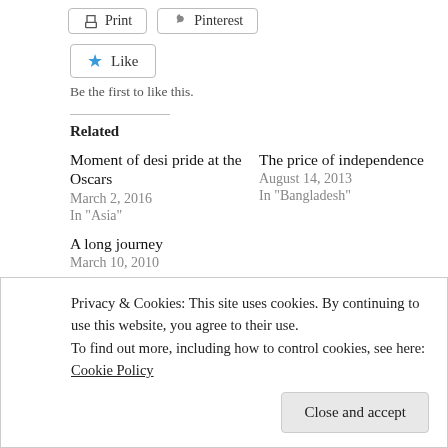[Figure (other): Print and Pinterest share buttons]
[Figure (other): Like button with blue star icon]
Be the first to like this.
Related
Moment of desi pride at the Oscars
March 2, 2016
In "Asia"
The price of independence
August 14, 2013
In "Bangladesh"
A long journey
March 10, 2010
Privacy & Cookies: This site uses cookies. By continuing to use this website, you agree to their use.
To find out more, including how to control cookies, see here: Cookie Policy
Close and accept